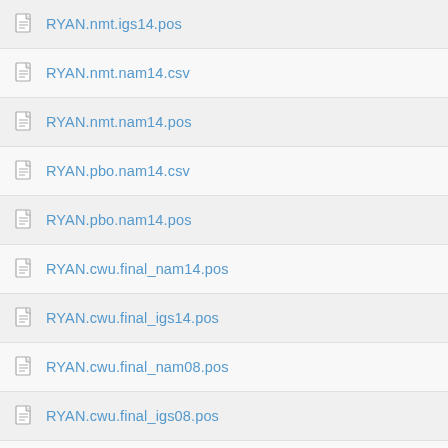RYAN.nmt.igs14.pos
RYAN.nmt.nam14.csv
RYAN.nmt.nam14.pos
RYAN.pbo.nam14.csv
RYAN.pbo.nam14.pos
RYAN.cwu.final_nam14.pos
RYAN.cwu.final_igs14.pos
RYAN.cwu.final_nam08.pos
RYAN.cwu.final_igs08.pos
RYAN.cwu.igs08.csv
RYAN.cwu.igs08.pos